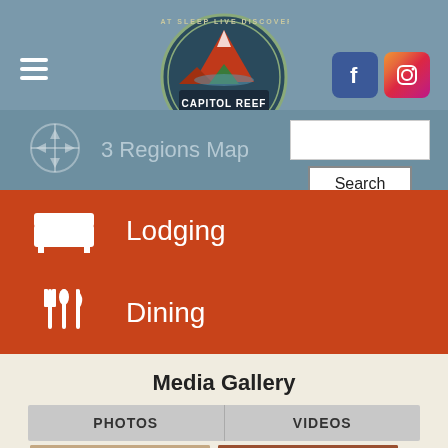[Figure (screenshot): Capitol Reef Country website header with logo, social media icons (Facebook, Instagram), hamburger menu, 3 Regions Map link, search box and button, Lodging and Dining navigation items, Media Gallery section with PHOTOS and VIDEOS tabs, and photo thumbnails at the bottom.]